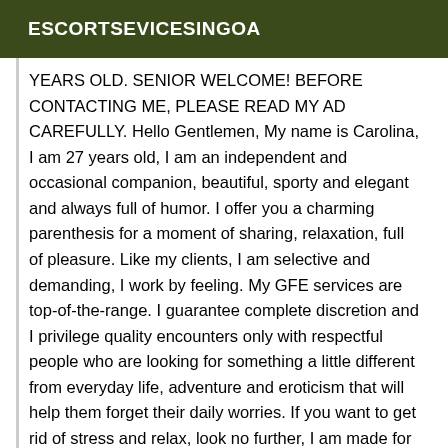ESCORTSEVICESINGOA
YEARS OLD. SENIOR WELCOME! BEFORE CONTACTING ME, PLEASE READ MY AD CAREFULLY. Hello Gentlemen, My name is Carolina, I am 27 years old, I am an independent and occasional companion, beautiful, sporty and elegant and always full of humor. I offer you a charming parenthesis for a moment of sharing, relaxation, full of pleasure. Like my clients, I am selective and demanding, I work by feeling. My GFE services are top-of-the-range. I guarantee complete discretion and I privilege quality encounters only with respectful people who are looking for something a little different from everyday life, adventure and eroticism that will help them forget their daily worries. If you want to get rid of stress and relax, look no further, I am made for you. Your well-being will be my priority.... To offer you the best of myself, I limit the number of my meetings and I am free to refuse an appointment. No slaughter, I am not mechanical, I don't